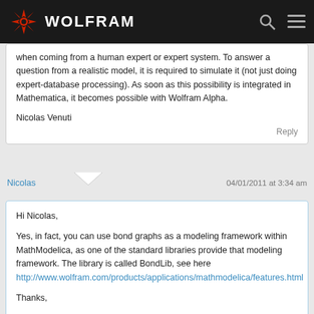WOLFRAM
when coming from a human expert or expert system. To answer a question from a realistic model, it is required to simulate it (not just doing expert-database processing). As soon as this possibility is integrated in Mathematica, it becomes possible with Wolfram Alpha.

Nicolas Venuti
Reply
Nicolas  04/01/2011 at 3:34 am
Hi Nicolas,

Yes, in fact, you can use bond graphs as a modeling framework within MathModelica, as one of the standard libraries provide that modeling framework. The library is called BondLib, see here http://www.wolfram.com/products/applications/mathmodelica/features.html

Thanks,

The Wolfram Blog Team
Reply
Wolfram Blog  04/05/2011 at 1:50 pm